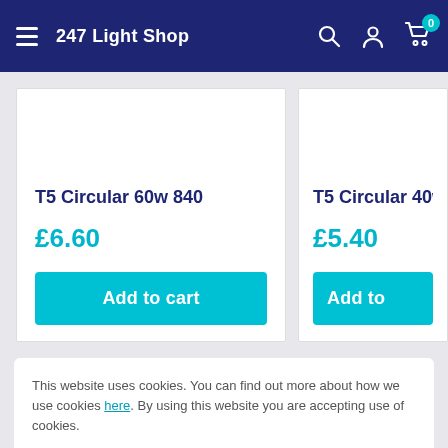247 Light Shop
T5 Circular 60w 840
£6.60
Add to cart
T5 Circular 40w 860
£5.40
Add to
This website uses cookies. You can find out more about how we use cookies here. By using this website you are accepting use of cookies.
Accept
Chat with us